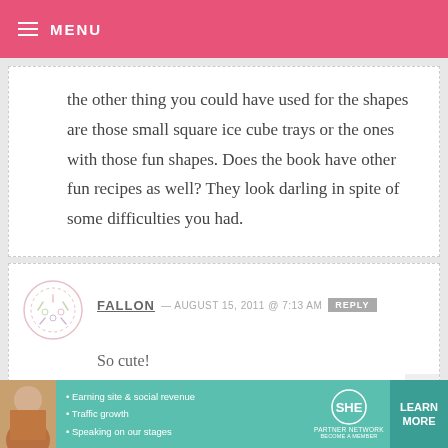MENU
the other thing you could have used for the shapes are those small square ice cube trays or the ones with those fun shapes. Does the book have other fun recipes as well? They look darling in spite of some difficulties you had.
FALLON — AUGUST 15, 2011 @ 7:13 AM REPLY
So cute!
[Figure (infographic): SHE Partner Network advertisement banner with woman photo, bullet points about earning site & social revenue, traffic growth, speaking on our stages, and a Learn More button]